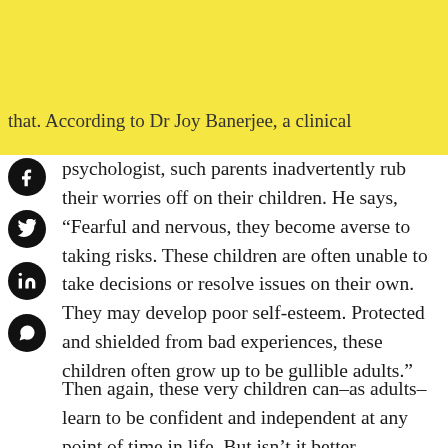parenting can unintentionally result in just that. According to Dr Joy Banerjee, a clinical
psychologist, such parents inadvertently rub their worries off on their children. He says, “Fearful and nervous, they become averse to taking risks. These children are often unable to take decisions or resolve issues on their own. They may develop poor self-esteem. Protected and shielded from bad experiences, these children often grow up to be gullible adults.”
Then again, these very children can–as adults–learn to be confident and independent at any point of time in life. But isn’t it better